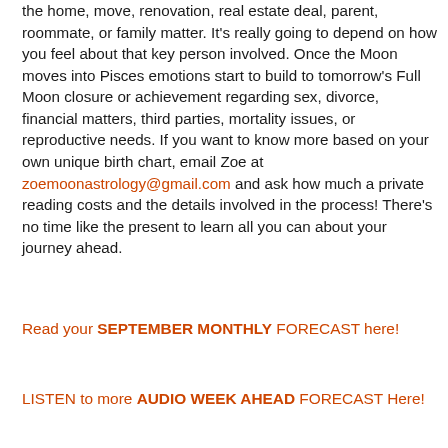the home, move, renovation, real estate deal, parent, roommate, or family matter. It's really going to depend on how you feel about that key person involved. Once the Moon moves into Pisces emotions start to build to tomorrow's Full Moon closure or achievement regarding sex, divorce, financial matters, third parties, mortality issues, or reproductive needs. If you want to know more based on your own unique birth chart, email Zoe at zoemoonastrology@gmail.com and ask how much a private reading costs and the details involved in the process! There's no time like the present to learn all you can about your journey ahead.
Read your SEPTEMBER MONTHLY FORECAST here!
LISTEN to more AUDIO WEEK AHEAD FORECAST Here!